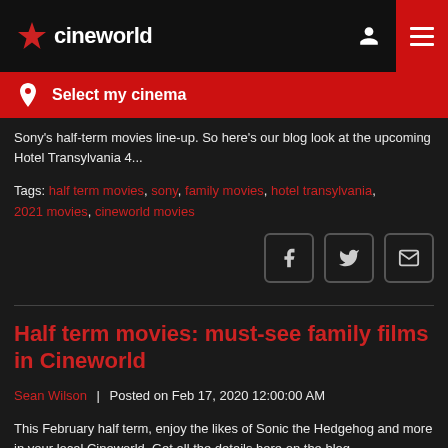[Figure (logo): Cineworld logo with red star icon and white text on black navbar, with user/search/menu icons]
Select my cinema
Sony's half-term movies line-up. So here's our blog look at the upcoming Hotel Transylvania 4...
Tags: half term movies, sony, family movies, hotel transylvania, 2021 movies, cineworld movies
[Figure (other): Social share buttons: Facebook, Twitter, Email]
Half term movies: must-see family films in Cineworld
Sean Wilson | Posted on Feb 17, 2020 12:00:00 AM
This February half term, enjoy the likes of Sonic the Hedgehog and more in your local Cineworld. Get all the details here on the blog.
Tags: hooks into movies, dolittle, family movies, half term